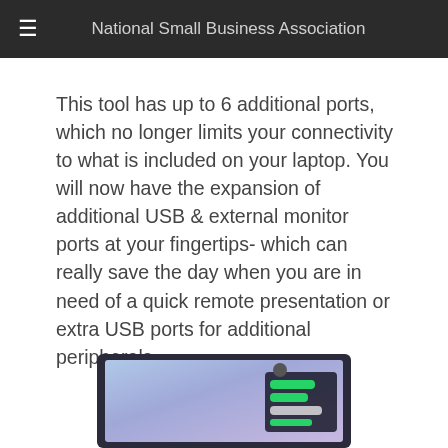National Small Business Association
This tool has up to 6 additional ports, which no longer limits your connectivity to what is included on your laptop. You will now have the expansion of additional USB & external monitor ports at your fingertips- which can really save the day when you are in need of a quick remote presentation or extra USB ports for additional peripherals.
[Figure (screenshot): Partial screenshot of a laptop screen showing a desktop interface with messaging or chat application visible at the bottom right of the screen, against a blue-purple gradient background.]